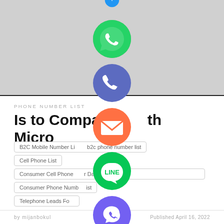[Figure (illustration): Gray background top section with social media share icons overlaid vertically in center: blue circle (partially visible at top), green WhatsApp circle, blue/purple phone circle, orange email/envelope circle, green LINE circle, purple Viber circle, green X/close circle at bottom]
PHONE NUMBER LIST
Is to Companio th Micro
B2C Mobile Number Li b2c phone number list
Cell Phone List
Consumer Cell Phone r Database
Consumer Phone Numb ist
Telephone Leads Fo
by mijanbokul   Published April 16, 2022